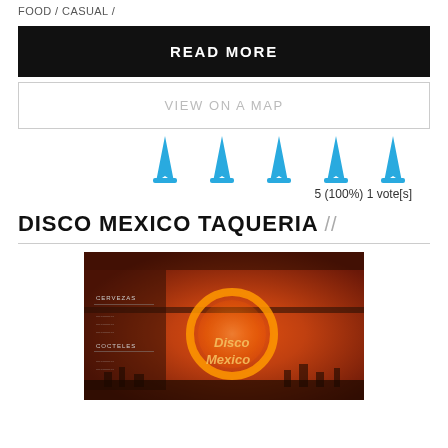FOOD / CASUAL /
READ MORE
VIEW ON A MAP
[Figure (infographic): Five blue martini glass icons representing a 5-star rating]
5 (100%) 1 vote[s]
DISCO MEXICO TAQUERIA //
[Figure (photo): Interior photo of Disco Mexico Taqueria showing an illuminated neon circle/sun logo on a red-lit wall with menu boards visible on the left and 'Disco Mexico' text in the center]